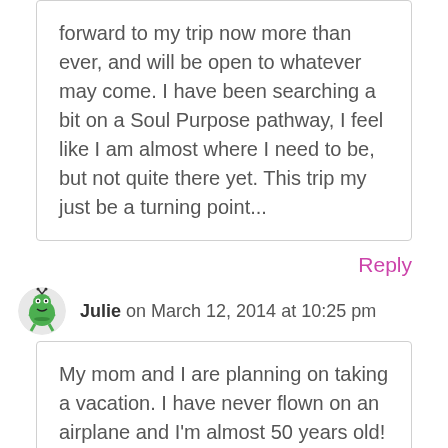forward to my trip now more than ever, and will be open to whatever may come. I have been searching a bit on a Soul Purpose pathway, I feel like I am almost where I need to be, but not quite there yet. This trip my just be a turning point...
Reply
Julie on March 12, 2014 at 10:25 pm
My mom and I are planning on taking a vacation. I have never flown on an airplane and I'm almost 50 years old! So excited.